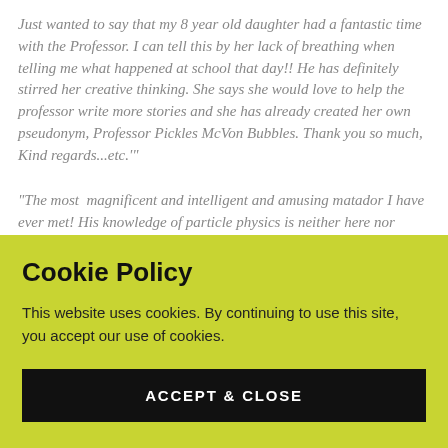Just wanted to say that my 8 year old daughter had a fantastic time with the Professor. I can tell this by her lack of breathing when telling me what happened at school that day!! He has definitely stirred her creative thinking. She says she would love to help the professor write more stories and she has already created her own pseudonym, Professor Pickles McVon Bubbles. Thank you so much, Kind regards...etc.'"
"The most magnificent and intelligent and amusing matador I have ever met! His knowledge of particle physics is neither here nor there, or sometimes both here and there depending on
Cookie Policy
This website uses cookies. By continuing to use this site, you accept our use of cookies.
ACCEPT & CLOSE